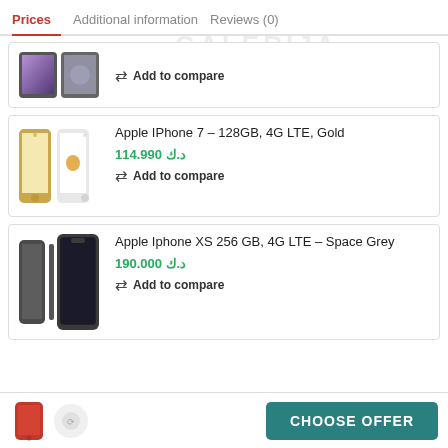Prices  Additional information  Reviews (0)
[Figure (photo): Samsung phone product image (partially visible, top card)]
Add to compare
[Figure (photo): Apple iPhone 7 Gold product images]
Apple IPhone 7 – 128GB, 4G LTE, Gold
د.ك 114.990
Add to compare
[Figure (photo): Apple iPhone XS Space Grey product images]
Apple Iphone XS 256 GB, 4G LTE – Space Grey
د.ك 190.000
Add to compare
CHOOSE OFFER